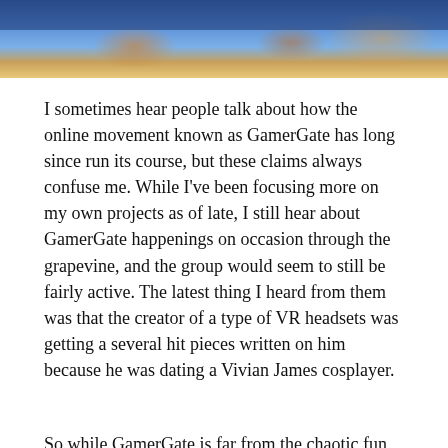[Figure (photo): Partial photo strip at top of page showing what appears to be animated or gaming-related characters against a blue background.]
I sometimes hear people talk about how the online movement known as GamerGate has long since run its course, but these claims always confuse me. While I've been focusing more on my own projects as of late, I still hear about GamerGate happenings on occasion through the grapevine, and the group would seem to still be fairly active. The latest thing I heard from them was that the creator of a type of VR headsets was getting a several hit pieces written on him because he was dating a Vivian James cosplayer.
So while GamerGate is far from the chaotic fun house that it was in August of 2014, it's still alive and kicking. KotakuInAction posts still get hundreds, sometimes thousands of upvoats, and posting to Twitter about GamerGate is still a great way of acquiring a large base of followers who RT much of what one says. So long as Twitter users continue to include the